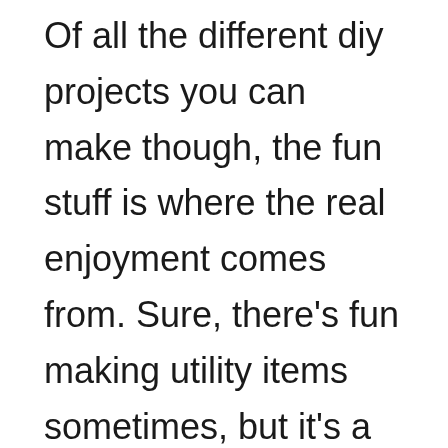Of all the different diy projects you can make though, the fun stuff is where the real enjoyment comes from. Sure, there’s fun making utility items sometimes, but it’s a lot more fun to make a wizard wand or a musical instrument.

This is the fun side was working, and where I make the majority of my projects. Not that I don’t enjoy a good